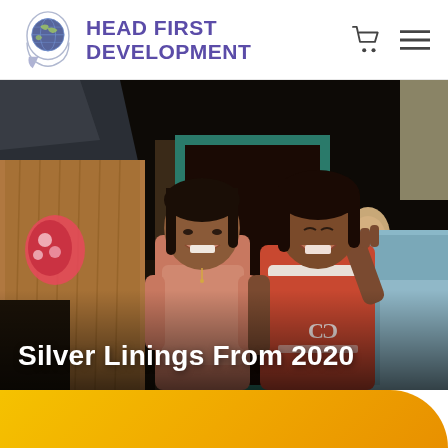HEAD FIRST DEVELOPMENT
[Figure (photo): Two young girls laughing and smiling in front of a makeshift shelter/slum dwelling. One wears a pink top, the other a red Chanel-branded shirt. A younger child is visible in the background doorway. Colorful fabric and materials surround them.]
Silver Linings From 2020